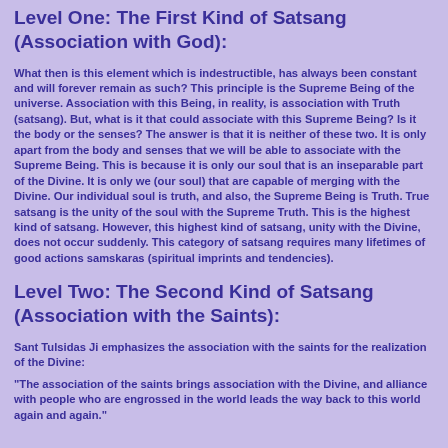Level One: The First Kind of Satsang (Association with God):
What then is this element which is indestructible, has always been constant and will forever remain as such? This principle is the Supreme Being of the universe. Association with this Being, in reality, is association with Truth (satsang). But, what is it that could associate with this Supreme Being? Is it the body or the senses? The answer is that it is neither of these two. It is only apart from the body and senses that we will be able to associate with the Supreme Being. This is because it is only our soul that is an inseparable part of the Divine. It is only we (our soul) that are capable of merging with the Divine. Our individual soul is truth, and also, the Supreme Being is Truth. True satsang is the unity of the soul with the Supreme Truth. This is the highest kind of satsang. However, this highest kind of satsang, unity with the Divine, does not occur suddenly. This category of satsang requires many lifetimes of good actions samskaras (spiritual imprints and tendencies).
Level Two: The Second Kind of Satsang (Association with the Saints):
Sant Tulsidas Ji emphasizes the association with the saints for the realization of the Divine:
"The association of the saints brings association with the Divine, and alliance with people who are engrossed in the world leads the way back to this world again and again."